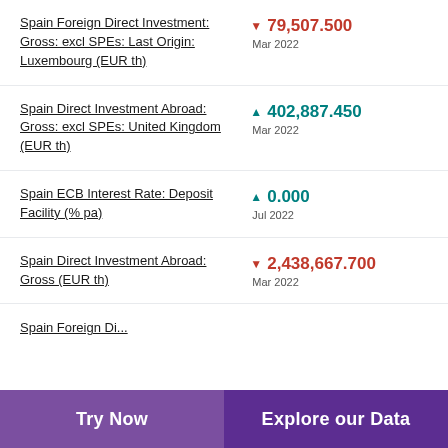Spain Foreign Direct Investment: Gross: excl SPEs: Last Origin: Luxembourg (EUR th)
Spain Direct Investment Abroad: Gross: excl SPEs: United Kingdom (EUR th)
Spain ECB Interest Rate: Deposit Facility (% pa)
Spain Direct Investment Abroad: Gross (EUR th)
Spain Foreign Di...
Try Now | Explore our Data